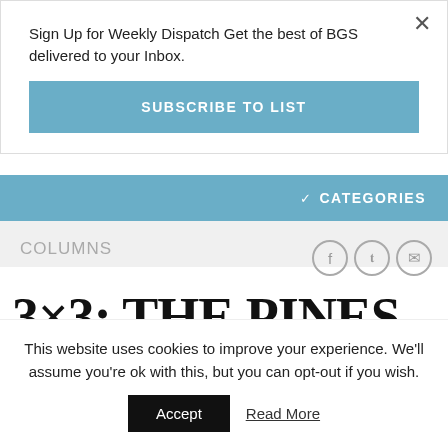Sign Up for Weekly Dispatch Get the best of BGS delivered to your Inbox.
SUBSCRIBE TO LIST
CATEGORIES
COLUMNS
3×3: THE PINES ON HAMPER, MCBEE
This website uses cookies to improve your experience. We'll assume you're ok with this, but you can opt-out if you wish.
Accept
Read More